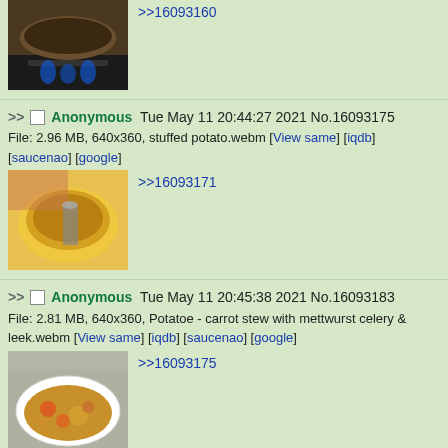[Figure (photo): Thumbnail of a pan on a stove with blue flame visible]
>>16093160
Anonymous Tue May 11 20:44:27 2021 No.16093175
File: 2.96 MB, 640x360, stuffed potato.webm [View same] [iqdb] [saucenao] [google]
[Figure (photo): Thumbnail of a stuffed yellow potato being held, with a spoon]
>>16093171
Anonymous Tue May 11 20:45:38 2021 No.16093183
File: 2.81 MB, 640x360, Potatoe - carrot stew with mettwurst celery & leek.webm [View same] [iqdb] [saucenao] [google]
[Figure (photo): Thumbnail of a potato carrot stew with mettwurst in a white bowl]
>>16093175
Anonymous Tue May 11 20:46:09 2021 No.16093187
File: 6 KB, 181x200, 1617607408018.jpg [View same] [iqdb] [saucenao] [google]
[Figure (photo): Thumbnail of a man's face with dark hair]
>>16093095